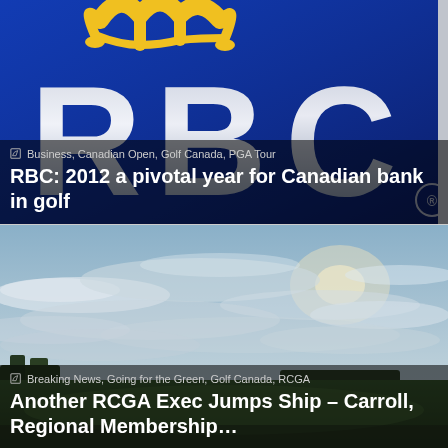[Figure (photo): RBC (Royal Bank of Canada) logo closeup — blue background with large silver/grey 'RBC' letters and yellow crown symbol at top]
Business, Canadian Open, Golf Canada, PGA Tour
RBC: 2012 a pivotal year for Canadian bank in golf
[Figure (photo): Panoramic photo of a golf course under a dramatic cloudy sky, with green fairways and tree lines in the distance]
Breaking News, Going for the Green, Golf Canada, RCGA
Another RCGA Exec Jumps Ship – Carroll, Regional Membership…